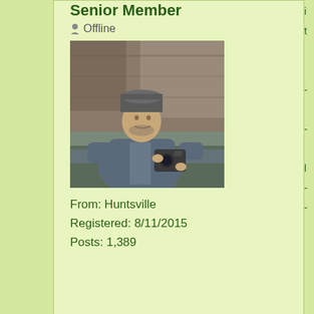Senior Member
Offline
[Figure (photo): User avatar photo of a man wearing a beanie hat, holding a camera, outdoors near rocky cliffs and water]
From: Huntsville
Registered: 8/11/2015
Posts: 1,389
11/10/2021 10:54 am   #2
MartinG
Senior Member
Offline
[Figure (photo): Partial view of user avatar for MartinG]